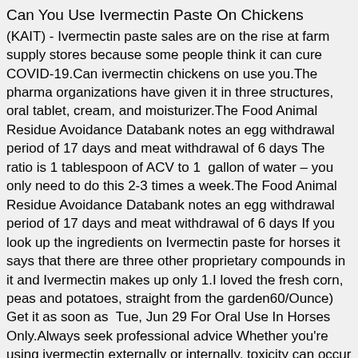Can You Use Ivermectin Paste On Chickens
(KAIT) - Ivermectin paste sales are on the rise at farm supply stores because some people think it can cure COVID-19.Can ivermectin chickens on use you.The pharma organizations have given it in three structures, oral tablet, cream, and moisturizer.The Food Animal Residue Avoidance Databank notes an egg withdrawal period of 17 days and meat withdrawal of 6 days The ratio is 1 tablespoon of ACV to 1 gallon of water – you only need to do this 2-3 times a week.The Food Animal Residue Avoidance Databank notes an egg withdrawal period of 17 days and meat withdrawal of 6 days If you look up the ingredients on Ivermectin paste for horses it says that there are three other proprietary compounds in it and Ivermectin makes up only 1.I loved the fresh corn, peas and potatoes, straight from the garden60/Ounce) Get it as soon as Tue, Jun 29 For Oral Use In Horses Only.Always seek professional advice Whether you're using ivermectin externally or internally, toxicity can occur if a chicken is given an excessive dose of the medication.The us center for disease control website lists the recommended use period for heartworm prevention.Ivermectin is a macrocyclic